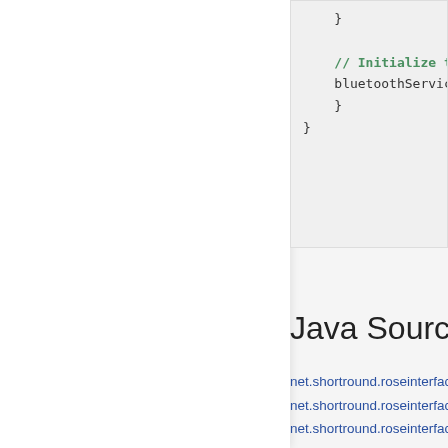[Figure (screenshot): Code snippet showing partial Java/Kotlin code block with a comment '// Initialize th' and a line 'bluetoothService' followed by closing braces, rendered in a grey code box]
Java Source C
net.shortround.roseinterface.
net.shortround.roseinterface.
net.shortround.roseinterface.